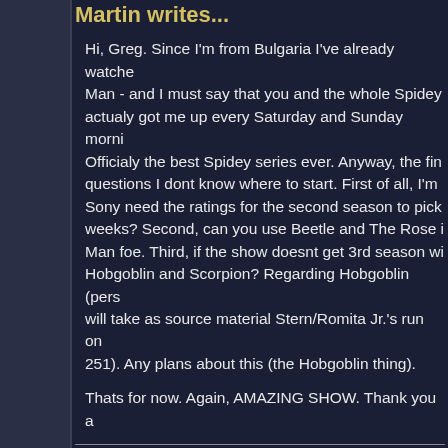Martin writes...
Hi, Greg. Since I'm from Bulgaria I've already watched Spider-Man - and I must say that you and the whole Spidey actualy got me up every Saturday and Sunday mornings. Officialy the best Spidey series ever. Anyway, the final questions I dont know where to start. First of all, I'm asking Sony need the ratings for the second season to pick weeks? Second, can you use Beetle and The Rose in Spider-Man foe. Third, if the show doesnt get 3rd season with Hobgoblin and Scorpion? Regarding Hobgoblin (pers) will take as source material Stern/Romita Jr.'s run on 251). Any plans about this (the Hobgoblin thing).
Thats for now. Again, AMAZING SHOW. Thank you a
Greg responds...
I don't have any sort of specific threshold that Disney/Sony need the show. Obviously, it needs to do well. And I don't know what qualifies as "well".
Simply put, I have every reason to think they'll pick it